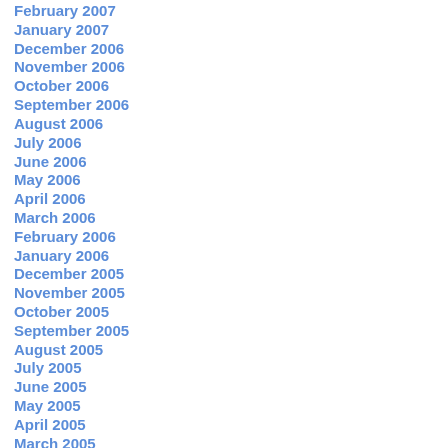February 2007
January 2007
December 2006
November 2006
October 2006
September 2006
August 2006
July 2006
June 2006
May 2006
April 2006
March 2006
February 2006
January 2006
December 2005
November 2005
October 2005
September 2005
August 2005
July 2005
June 2005
May 2005
April 2005
March 2005
February 2005
January 2005
December 2004
November 2004
October 2004
September 2004